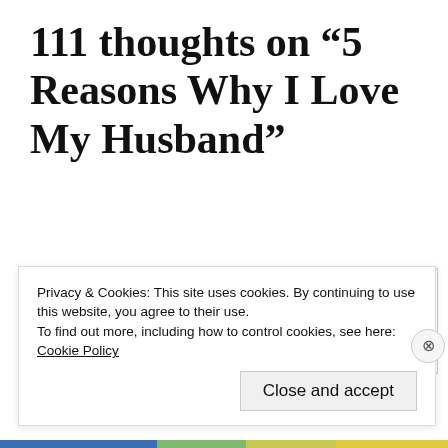111 thoughts on “5 Reasons Why I Love My Husband”
mypbbooks
March 13, 2019 at 6:16 pm
Privacy & Cookies: This site uses cookies. By continuing to use this website, you agree to their use.
To find out more, including how to control cookies, see here: Cookie Policy

Close and accept